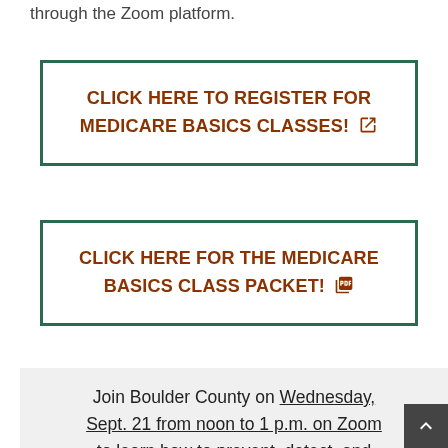through the Zoom platform.
CLICK HERE TO REGISTER FOR MEDICARE BASICS CLASSES! [external link icon]
CLICK HERE FOR THE MEDICARE BASICS CLASS PACKET! [pdf icon]
Join Boulder County on Wednesday, Sept. 21 from noon to 1 p.m. on Zoom to learn how to prevent, detect, and